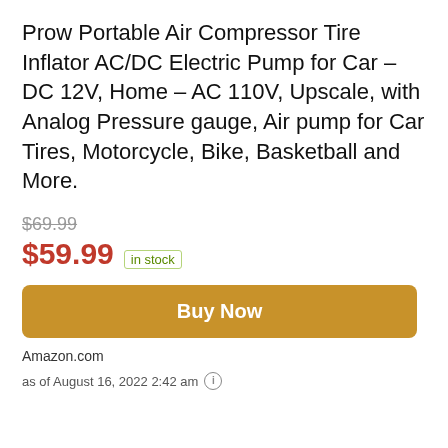Prow Portable Air Compressor Tire Inflator AC/DC Electric Pump for Car – DC 12V, Home – AC 110V, Upscale, with Analog Pressure gauge, Air pump for Car Tires, Motorcycle, Bike, Basketball and More.
$69.99 (strikethrough) $59.99 in stock
Buy Now
Amazon.com
as of August 16, 2022 2:42 am